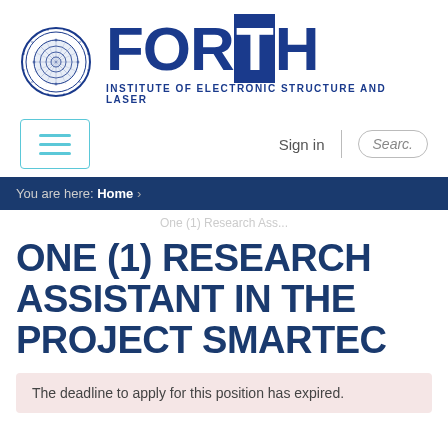[Figure (logo): FORTH Institute of Electronic Structure and Laser logo with circular seal and bold FORTH text]
INSTITUTE OF ELECTRONIC STRUCTURE AND LASER
Sign in | Search
You are here: Home ›
One (1) Research Ass...
ONE (1) RESEARCH ASSISTANT IN THE PROJECT SMARTEC
The deadline to apply for this position has expired.